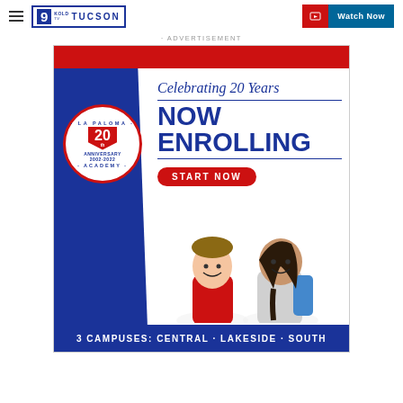9 KOLD TUCSON | Watch Now
· ADVERTISEMENT
[Figure (illustration): La Paloma Academy advertisement: Celebrating 20 Years, NOW ENROLLING, START NOW button, 3 CAMPUSES: CENTRAL · LAKESIDE · SOUTH. Features school logo badge with 20th Anniversary 2002-2022, blue and red color scheme, two smiling students.]